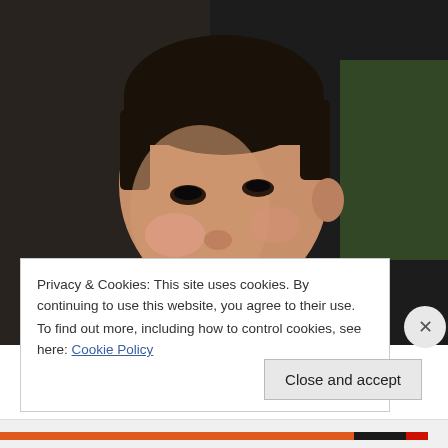[Figure (photo): Close-up portrait of a young Asian boy with short dark hair, looking down, wearing a green shirt. Dark/moody background.]
Privacy & Cookies: This site uses cookies. By continuing to use this website, you agree to their use.
To find out more, including how to control cookies, see here: Cookie Policy
Close and accept